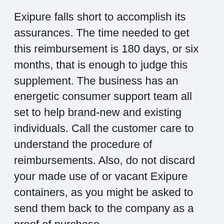Exipure falls short to accomplish its assurances. The time needed to get this reimbursement is 180 days, or six months, that is enough to judge this supplement. The business has an energetic consumer support team all set to help brand-new and existing individuals. Call the customer care to understand the procedure of reimbursements. Also, do not discard your made use of or vacant Exipure containers, as you might be asked to send them back to the company as a proof of purchase.
Do not depend on sources besides the official site to get your Exipure order as this refund policy does not use on bottles purchased from unauthorized sources. The refund requests gotten after passing this 180-day restriction will certainly be rejected by the business as a part of this